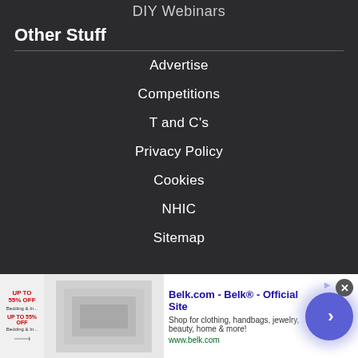DIY Webinars
Other Stuff
Advertise
Competitions
T and C's
Privacy Policy
Cookies
NHIC
Sitemap
[Figure (screenshot): Advertisement banner for Belk.com showing product images, text 'Belk.com - Belk® - Official Site', 'Shop for clothing, handbags, jewelry, beauty, home & more!', 'www.belk.com', with a navigation arrow button and close button]